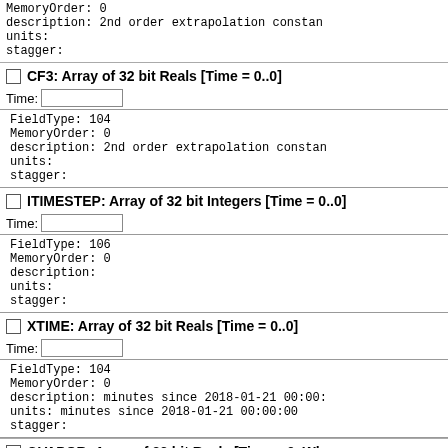MemoryOrder: 0
description: 2nd order extrapolation constan
units:
stagger:
CF3: Array of 32 bit Reals [Time = 0..0]
Time:
FieldType: 104
MemoryOrder: 0
description: 2nd order extrapolation constan
units:
stagger:
ITIMESTEP: Array of 32 bit Integers [Time = 0..0]
Time:
FieldType: 106
MemoryOrder: 0
description:
units:
stagger:
XTIME: Array of 32 bit Reals [Time = 0..0]
Time:
FieldType: 104
MemoryOrder: 0
description: minutes since 2018-01-21 00:00:
units: minutes since 2018-01-21 00:00:00
stagger:
QVAPOR: Array of 32 bit Reals [Time = 0..Wh